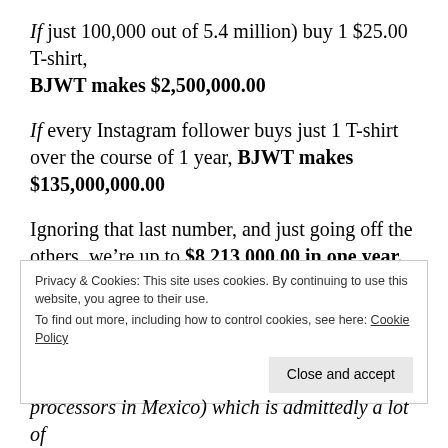If just 100,000 out of 5.4 million) buy 1 $25.00 T-shirt, BJWT makes $2,500,000.00
If every Instagram follower buys just 1 T-shirt over the course of 1 year, BJWT makes $135,000,000.00
Ignoring that last number, and just going off the others, we're up to $8,213,000.00 in one year.
Basic food, medical, maintenance costs for one big cat
Privacy & Cookies: This site uses cookies. By continuing to use this website, you agree to their use. To find out more, including how to control cookies, see here: Cookie Policy
Close and accept
processors in Mexico) which is admittedly a lot of